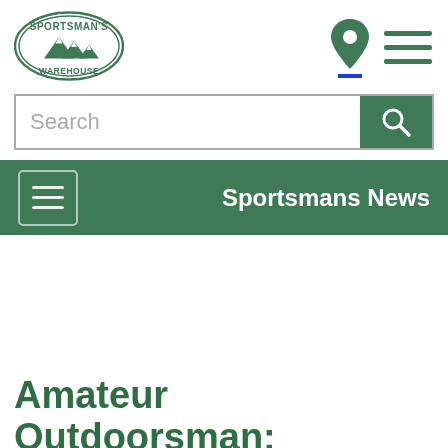[Figure (logo): Sportsman's Warehouse logo - green oval with mountains]
Sportsmans News
Amateur Outdoorsman: Properly